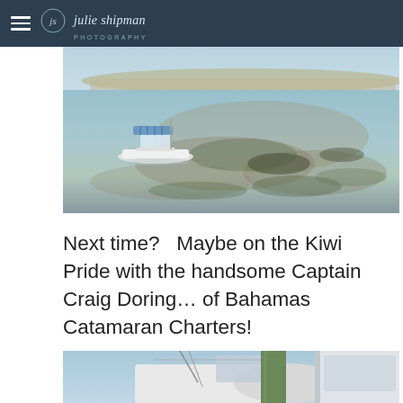julie shipman PHOTOGRAPHY
[Figure (photo): Aerial/wide shot of a white motorboat anchored in very shallow, clear turquoise water near a sandy island or sandbar. The water is calm and shows sandy/rocky bottom clearly visible through the shallow water.]
Next time?   Maybe on the Kiwi Pride with the handsome Captain Craig Doring… of Bahamas Catamaran Charters!
[Figure (photo): Close-up photo of a boat (catamaran) docked at a marina pier. Visible are the white hull of the vessel, a green wooden piling/dock post, fishing rods, rigging, and blue sky in the background.]